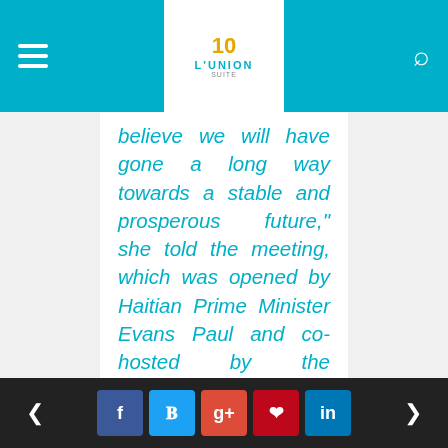L'UNION navigation bar with hamburger menu, logo, and search icon
believe we will have gone a long way towards a stable and prosperous future," she told the meeting, which was opened by Haitian Prime Minister Evans Paul and co-hosted by the Permanent Representative of Uruguay Gonzalo Koncke, heading the Group of Friends of Haiti. “While it is important for Haiti’s international partners
Navigation arrows and social share buttons: Facebook, Twitter, Google+, Pinterest, LinkedIn